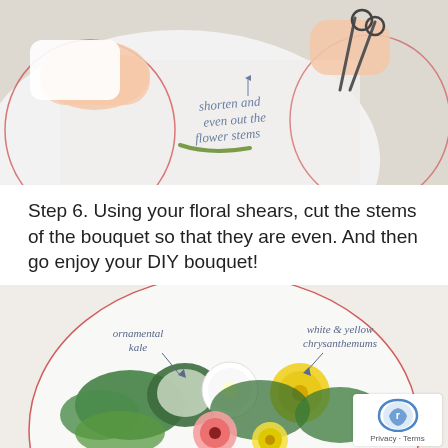[Figure (photo): Hands holding flower stems being cut with floral shears/scissors on a white surface, with cursive handwritten annotation 'shorten and even out the flower stems']
Step 6. Using your floral shears, cut the stems of the bouquet so that they are even. And then go enjoy your DIY bouquet!
[Figure (photo): A DIY floral bouquet arranged on a white circular surface with handwritten annotations: 'ornamental kale' pointing to leafy greens on the left, and 'white & yellow chrysanthemums' pointing to white and yellow flowers on the right. The bouquet includes white chrysanthemums, yellow chrysanthemums, pink gerbera daisies, ornamental kale, and green foliage.]